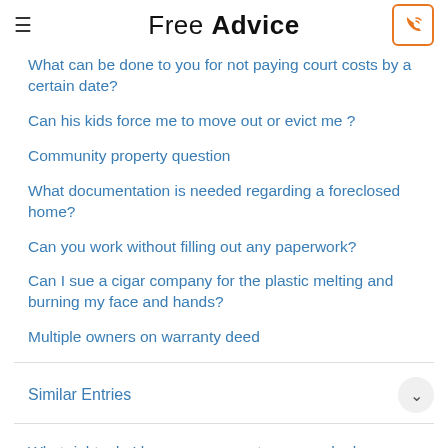Free Advice
What can be done to you for not paying court costs by a certain date?
Can his kids force me to move out or evict me ?
Community property question
What documentation is needed regarding a foreclosed home?
Can you work without filling out any paperwork?
Can I sue a cigar company for the plastic melting and burning my face and hands?
Multiple owners on warranty deed
Similar Entries
What rights do I have as a property owner who has